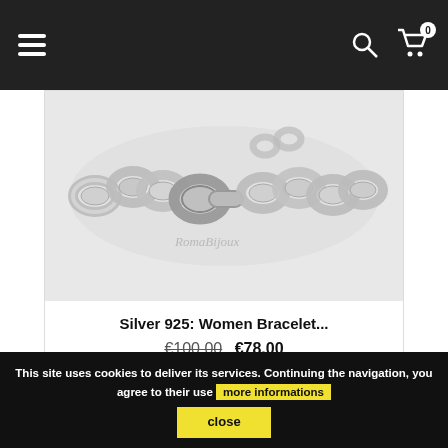Navigation bar with hamburger menu, search icon, and cart icon (0 items)
[Figure (photo): Silver 925 women's bracelet — chunky silver chain link bracelet with toggle clasp, watermark 'RomaBijoux']
Silver 925: Women Bracelet...
€100.00 €78.00
This site uses cookies to deliver its services. Continuing the navigation, you agree to their use more informations close